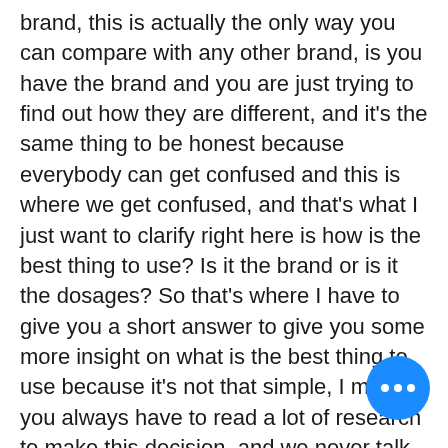brand, this is actually the only way you can compare with any other brand, is you have the brand and you are just trying to find out how they are different, and it's the same thing to be honest because everybody can get confused and this is where we get confused, and that's what I just want to clarify right here is how is the best thing to use? Is it the brand or is it the dosages? So that's where I have to give you a short answer to give you some more insight on what is the best thing to use because it's not that simple, I mean you always have to read a lot of research to make this decision, and we never talk about the dosages because dosages have very little to do with the real effectiveness of the steroids, and there are so many different dosages and dosages you can use, which again, are all pretty equally helpful and the effects are different so I wanted to give you some information, so the more I talk about this in a longer story the